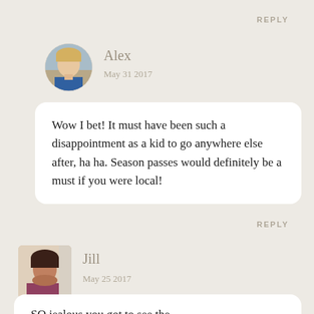REPLY
[Figure (photo): Round avatar photo of Alex, a blonde woman]
Alex
May 31 2017
Wow I bet! It must have been such a disappointment as a kid to go anywhere else after, ha ha. Season passes would definitely be a must if you were local!
REPLY
[Figure (photo): Rectangular avatar photo of Jill, a dark-haired woman]
Jill
May 25 2017
SO jealous you got to see the